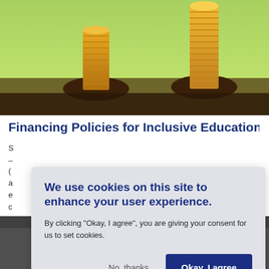[Figure (photo): Stacks of gold coins growing out of soil against a green background — financial growth concept image]
Financing Policies for Inclusive Education S...
– ... ( ... a ... e ... c ...
[Figure (photo): Bottom strip photo showing colorful numbered markers on a track or road surface]
We use cookies on this site to enhance your user experience.

By clicking "Okay, I agree", you are giving your consent for us to set cookies.

No, thanks    Okay, I agree